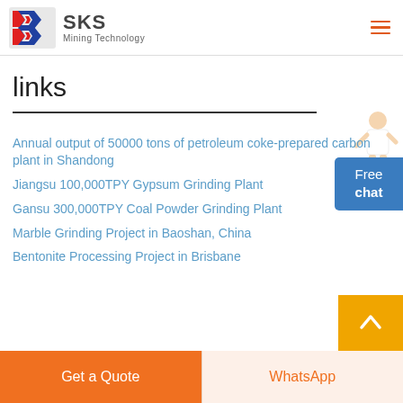SKS Mining Technology
links
Annual output of 50000 tons of petroleum coke-prepared carbon plant in Shandong
Jiangsu 100,000TPY Gypsum Grinding Plant
Gansu 300,000TPY Coal Powder Grinding Plant
Marble Grinding Project in Baoshan, China
Bentonite Processing Project in Brisbane
Get a Quote | WhatsApp